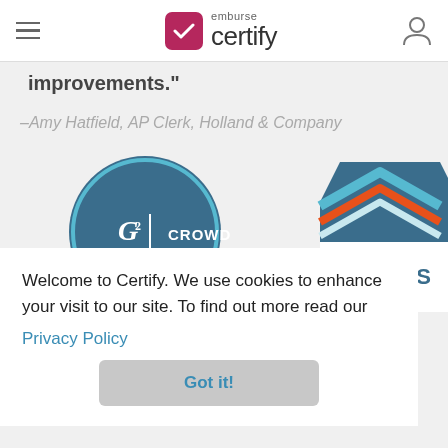emburse certify
improvements."
–Amy Hatfield, AP Clerk, Holland & Company
[Figure (logo): G2 Crowd Leader badge (circular badge with teal/orange/blue colors) and Users badge (chevron/house shaped badge with teal/orange/blue colors and text USERS)]
Welcome to Certify. We use cookies to enhance your visit to our site. To find out more read our Privacy Policy
Got it!